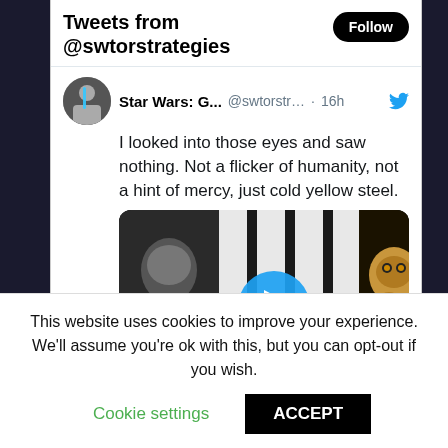Tweets from @swtorstrategies
I looked into those eyes and saw nothing. Not a flicker of humanity, not a hint of mercy, just cold yellow steel.
[Figure (screenshot): Video thumbnail showing C-3PO and a stormtrooper from Star Wars, with a blue play button circle in the center]
This website uses cookies to improve your experience. We'll assume you're ok with this, but you can opt-out if you wish.
Cookie settings   ACCEPT